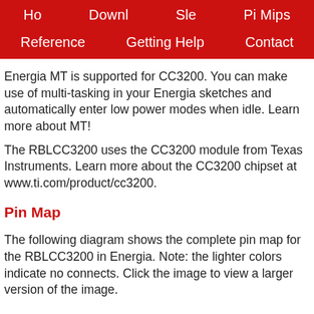Ho   Downl   S le   Pi Maps   Reference   Getting Help   Contact
Energia MT is supported for CC3200. You can make use of multi-tasking in your Energia sketches and automatically enter low power modes when idle. Learn more about MT!
The RBLCC3200 uses the CC3200 module from Texas Instruments. Learn more about the CC3200 chipset at www.ti.com/product/cc3200.
Pin Map
The following diagram shows the complete pin map for the RBLCC3200 in Energia. Note: the lighter colors indicate no connects. Click the image to view a larger version of the image.
Main Headers